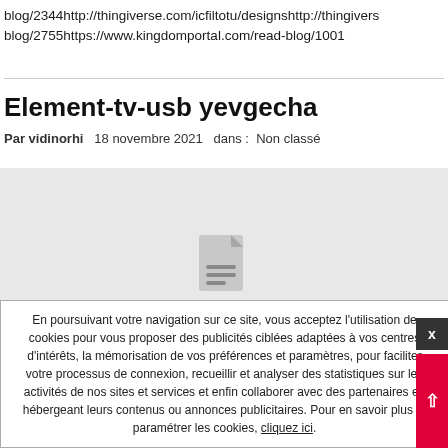blog/2344http://thingiverse.com/icfiltotu/designshttp://thingivers blog/2755https://www.kingdomportal.com/read-blog/1001
Element-tv-usb yevgecha
Par vidinorhi   18 novembre 2021   dans :  Non classé
[Figure (illustration): Light grey placeholder area with a document/file icon in the center]
En poursuivant votre navigation sur ce site, vous acceptez l'utilisation de cookies pour vous proposer des publicités ciblées adaptées à vos centres d'intérêts, la mémorisation de vos préférences et paramètres, pour faciliter votre processus de connexion, recueillir et analyser des statistiques sur les activités de nos sites et services et enfin collaborer avec des partenaires en hébergeant leurs contenus ou annonces publicitaires. Pour en savoir plus et paramétrer les cookies, cliquez ici.